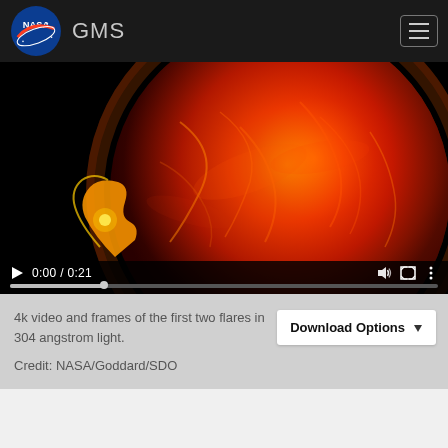GMS
[Figure (photo): Video player showing a solar flare image from NASA's SDO spacecraft — a close-up of the Sun in extreme ultraviolet 304 angstrom light, showing orange/red plasma with a flare erupting on the lower left limb. Video controls show 0:00 / 0:21 with a progress bar.]
4k video and frames of the first two flares in 304 angstrom light.
Credit: NASA/Goddard/SDO